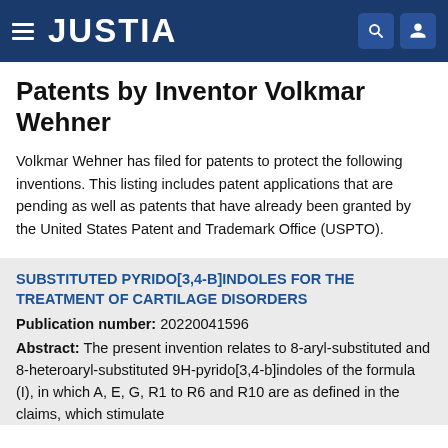JUSTIA
Patents by Inventor Volkmar Wehner
Volkmar Wehner has filed for patents to protect the following inventions. This listing includes patent applications that are pending as well as patents that have already been granted by the United States Patent and Trademark Office (USPTO).
SUBSTITUTED PYRIDO[3,4-B]INDOLES FOR THE TREATMENT OF CARTILAGE DISORDERS
Publication number: 20220041596
Abstract: The present invention relates to 8-aryl-substituted and 8-heteroaryl-substituted 9H-pyrido[3,4-b]indoles of the formula (I), in which A, E, G, R1 to R6 and R10 are as defined in the claims, which stimulate